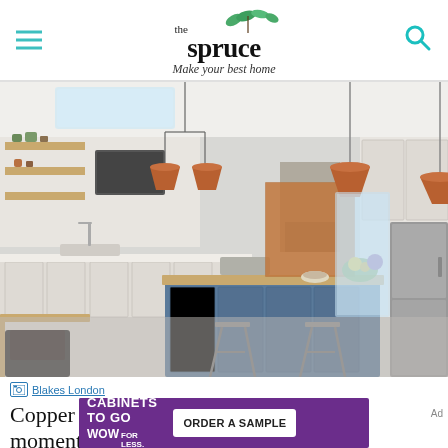the spruce — Make your best home
[Figure (photo): Bright modern kitchen with blue island, copper pendant lights, butcher block countertop, industrial bar stools, white cabinetry, open shelving, and flowers on the island.]
Blakes London
Copper accents are having a big moment
[Figure (other): Advertisement banner: CABINETS TO GO WOW FOR LESS. ORDER A SAMPLE button on purple background.]